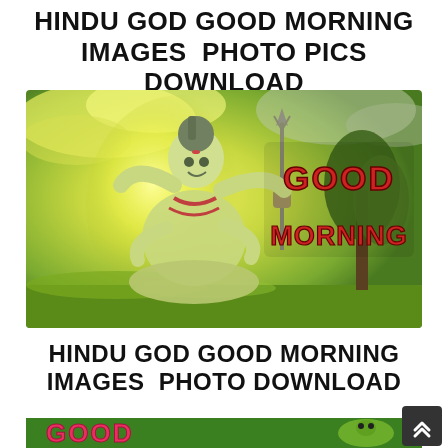HINDU GOD GOOD MORNING IMAGES  PHOTO PICS DOWNLOAD
[Figure (photo): A statue of Lord Shiva seated in lotus position with multiple arms, holding a trident, surrounded by a glowing yellow-green aura and clouds. Text overlay reads 'GOOD MORNING' in red bold letters on the right side.]
HINDU GOD GOOD MORNING IMAGES  PHOTO DOWNLOAD
[Figure (photo): Bottom partial image showing a green-themed good morning image with colorful text 'GOOD' in pink/red letters and an animated frog character.]